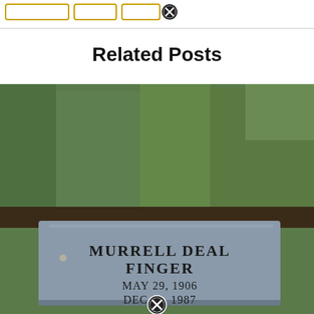[Figure (screenshot): Top navigation bar with tab buttons outlined in gold/yellow and a close (X) button circle icon]
Related Posts
[Figure (photo): Photograph of a gravestone reading: MURRELL DEAL FINGER, MAY 29, 1906, DEC 22, 1987. The stone is flat, gray granite set in grass. A close (X) button circle icon appears at the bottom center of the photo.]